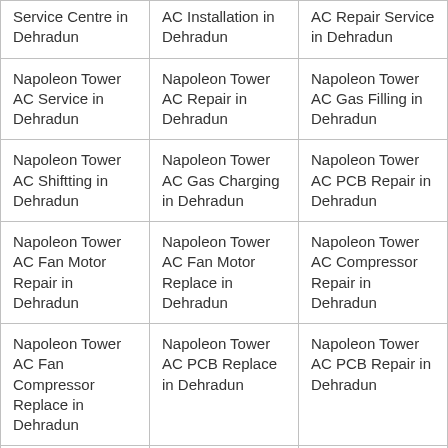| Service Centre in Dehradun | AC Installation in Dehradun | AC Repair Service in Dehradun |
| Napoleon Tower AC Service in Dehradun | Napoleon Tower AC Repair in Dehradun | Napoleon Tower AC Gas Filling in Dehradun |
| Napoleon Tower AC Shiftting in Dehradun | Napoleon Tower AC Gas Charging in Dehradun | Napoleon Tower AC PCB Repair in Dehradun |
| Napoleon Tower AC Fan Motor Repair in Dehradun | Napoleon Tower AC Fan Motor Replace in Dehradun | Napoleon Tower AC Compressor Repair in Dehradun |
| Napoleon Tower AC Fan Compressor Replace in Dehradun | Napoleon Tower AC PCB Replace in Dehradun | Napoleon Tower AC PCB Repair in Dehradun |
| Napoleon Commercial AC Service Centre in | Napoleon Commercial AC Installation in | Napoleon Commercial AC Repair Service in |